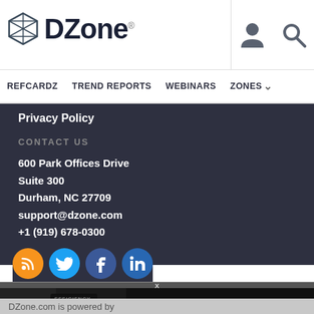DZone. [logo with person icon and search icon]
REFCARDZ   TREND REPORTS   WEBINARS   ZONES
Privacy Policy
CONTACT US
600 Park Offices Drive
Suite 300
Durham, NC 27709
support@dzone.com
+1 (919) 678-0300
[Figure (other): Social media icons: RSS (orange), Twitter (blue), Facebook (dark blue), LinkedIn (blue)]
[Figure (other): Advertisement banner: Pluralsight ad showing 'Transform your techno...' with woman and stats showing 76.9% efficiency average]
DZone.com is powered by